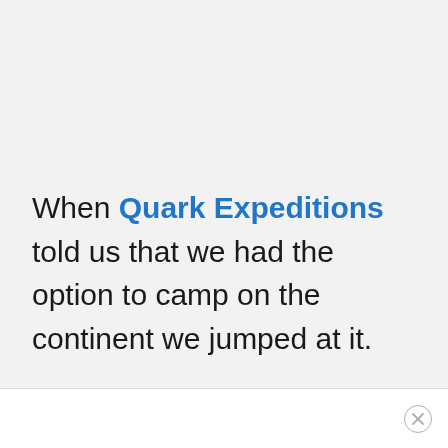When Quark Expeditions told us that we had the option to camp on the continent we jumped at it.
✕